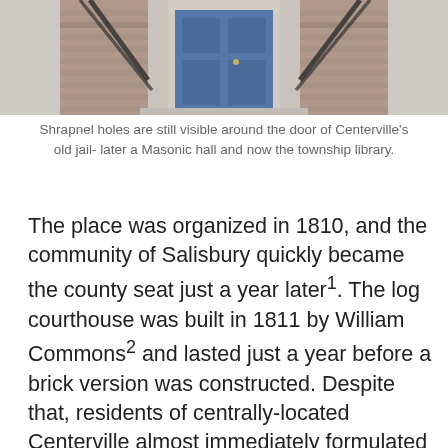[Figure (photo): Photograph showing the front door of a brick building — Centerville's old jail, later a Masonic hall and now the township library. A blue door is visible with stone surround, flanked by black chains/railings. Shrapnel holes are visible in the brick around the door area.]
Shrapnel holes are still visible around the door of Centerville's old jail- later a Masonic hall and now the township library.
The place was organized in 1810, and the community of Salisbury quickly became the county seat just a year later¹. The log courthouse was built in 1811 by William Commons² and lasted just a year before a brick version was constructed. Despite that, residents of centrally-located Centerville almost immediately formulated a scheme to relocate the county seat to their burgeoning community. Back then, being named county seat carried a lot of political and economic weight, and the state legislature soon determined that if Centerville could build a better courthouse than Salisbury in the th...